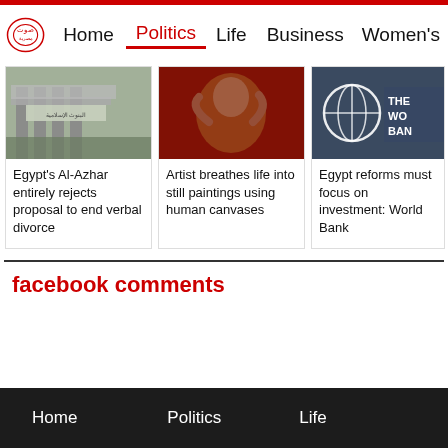Home | Politics | Life | Business | Women's
[Figure (photo): Building with Arabic text signage - appears to be an Islamic bank]
Egypt's Al-Azhar entirely rejects proposal to end verbal divorce
[Figure (photo): Artist with body paint, red background]
Artist breathes life into still paintings using human canvases
[Figure (photo): World Bank logo/sign on building]
Egypt reforms must focus on investment: World Bank
facebook comments
Home   Politics   Life